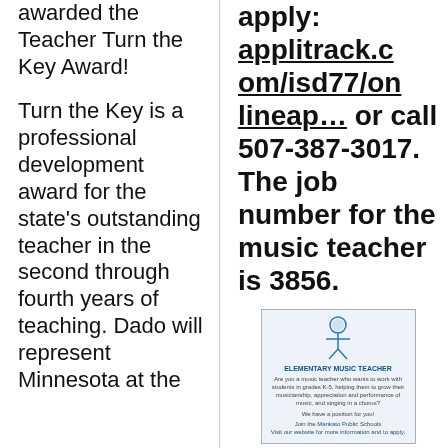awarded the Teacher Turn the Key Award!
Turn the Key is a professional development award for the state's outstanding teacher in the second through fourth years of teaching. Dado will represent Minnesota at the
apply: applitrack.com/isd77/onlineap… or call 507-387-3017. The job number for the music teacher is 3856.
[Figure (infographic): Promotional flyer for Elementary Music Teacher position with a small figure/person icon at the top, text describing the job opportunity in Mankato Public Schools including grades K-5 duties, and contact information to apply.]